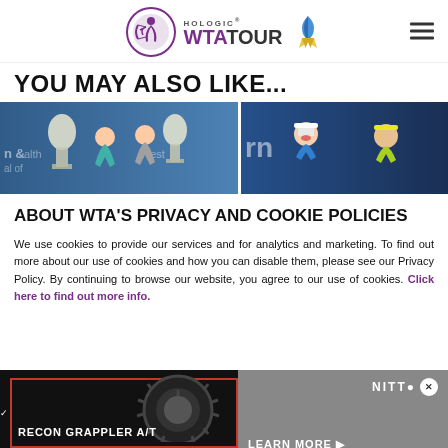HOLOGIC WTA TOUR
YOU MAY ALSO LIKE...
[Figure (photo): Two female tennis players holding trophies at what appears to be a Western & Southern Open event]
[Figure (photo): Two female tennis players in action, one wearing white headband and blue top, another with yellow headband and yellow-green top]
ABOUT WTA'S PRIVACY AND COOKIE POLICIES
We use cookies to provide our services and for analytics and marketing. To find out more about our use of cookies and how you can disable them, please see our Privacy Policy. By continuing to browse our website, you agree to our use of cookies. Click here to find out more info.
[Figure (advertisement): Nitto Tires advertisement featuring Recon Grappler A/T tire with Learn More call to action]